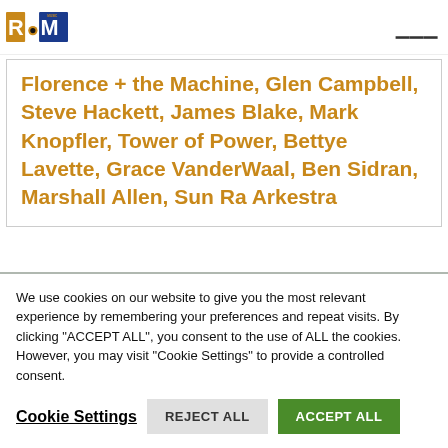[Figure (logo): Radio Milwaukee (WYMS) logo — gold and blue letters RVM with RADIO and MUSIC text]
Florence + the Machine, Glen Campbell, Steve Hackett, James Blake, Mark Knopfler, Tower of Power, Bettye Lavette, Grace VanderWaal, Ben Sidran, Marshall Allen, Sun Ra Arkestra
We use cookies on our website to give you the most relevant experience by remembering your preferences and repeat visits. By clicking "ACCEPT ALL", you consent to the use of ALL the cookies. However, you may visit "Cookie Settings" to provide a controlled consent.
Cookie Settings | REJECT ALL | ACCEPT ALL